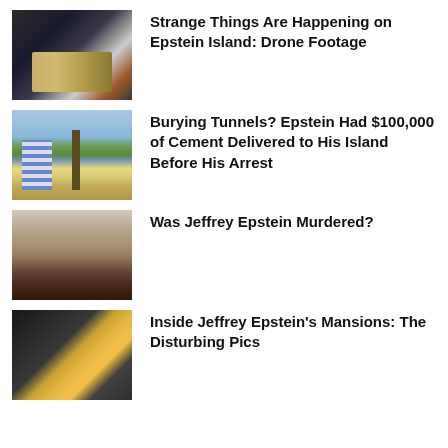[Figure (photo): Thumbnail photo showing drone or electronic equipment from above]
Strange Things Are Happening on Epstein Island: Drone Footage
[Figure (photo): Thumbnail photo showing palm trees and striped beach structures on an island]
Burying Tunnels? Epstein Had $100,000 of Cement Delivered to His Island Before His Arrest
[Figure (photo): Thumbnail photo showing a man's face, resembling Jeffrey Epstein]
Was Jeffrey Epstein Murdered?
[Figure (photo): Thumbnail photo showing interior of a building with mechanical or decorative elements]
Inside Jeffrey Epstein's Mansions: The Disturbing Pics